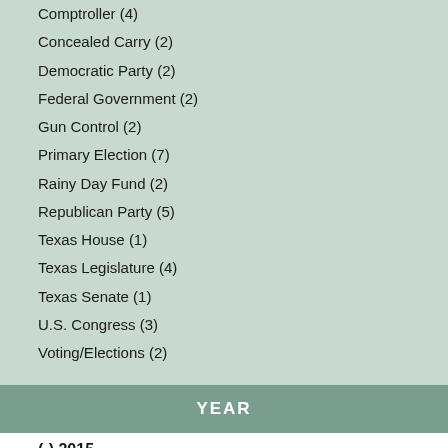Comptroller (4)
Concealed Carry (2)
Democratic Party (2)
Federal Government (2)
Gun Control (2)
Primary Election (7)
Rainy Day Fund (2)
Republican Party (5)
Texas House (1)
Texas Legislature (4)
Texas Senate (1)
U.S. Congress (3)
Voting/Elections (2)
YEAR
(-) 2015
(-) 1996
(-) 1982
(-) 1981